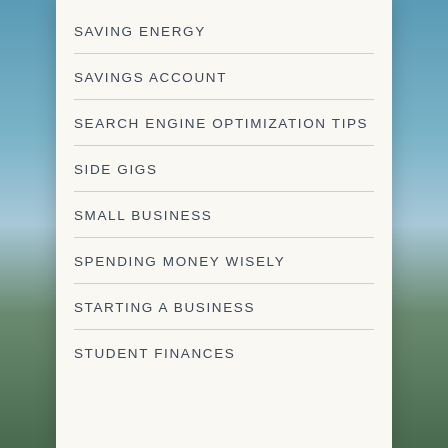SAVING ENERGY
SAVINGS ACCOUNT
SEARCH ENGINE OPTIMIZATION TIPS
SIDE GIGS
SMALL BUSINESS
SPENDING MONEY WISELY
STARTING A BUSINESS
STUDENT FINANCES